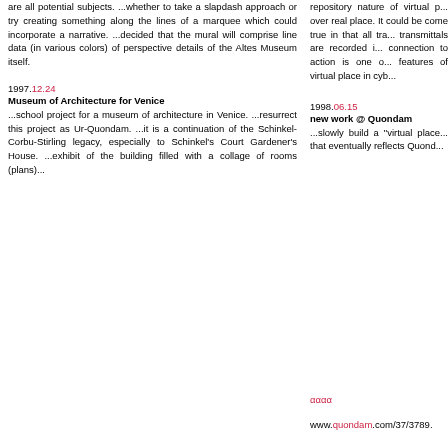are all potential subjects. ...whether to take a slapdash approach or try creating something along the lines of a marquee which could incorporate a narrative. ...decided that the mural will comprise line data (in various colors) of perspective details of the Altes Museum itself.
repository nature of virtual p... over real place. It could be come true in that all tra... transmittals are recorded i... connection to action is one o... features of virtual place in cyb...
1997.12.24
Museum of Architecture for Venice
...school project for a museum of architecture in Venice. ...resurrect this project as Ur-Quondam. ...it is a continuation of the Schinkel-Corbu-Stirling legacy, especially to Schinkel's Court Gardener's House. ...exhibit of the building filled with a collage of rooms (plans)...
1998.06.15
new work @ Quondam
...slowly build a "virtual place... that eventually reflects Quond...
αααα
www.quondam.com/37/3789.